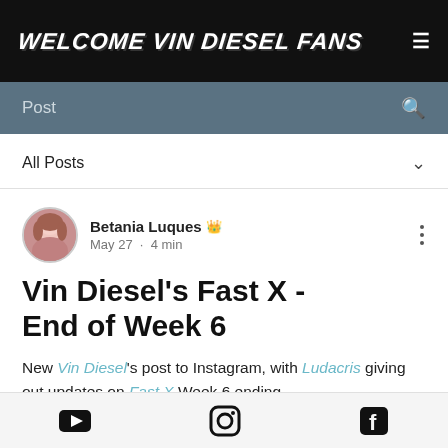WELCOME VIN DIESEL FANS
Post
All Posts
Betania Luques  May 27 · 4 min
Vin Diesel's Fast X - End of Week 6
New Vin Diesel's post to Instagram, with Ludacris giving out updates on Fast X Week 6 ending.
YouTube | Instagram | Facebook